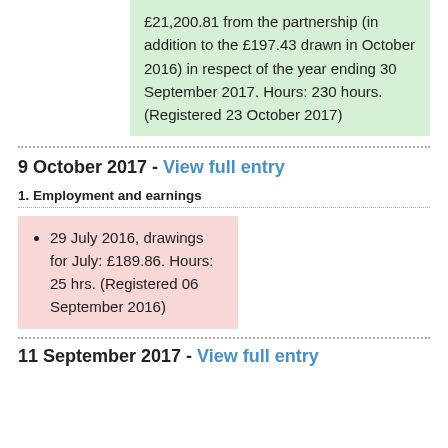£21,200.81 from the partnership (in addition to the £197.43 drawn in October 2016) in respect of the year ending 30 September 2017. Hours: 230 hours. (Registered 23 October 2017)
9 October 2017 - View full entry
1. Employment and earnings
29 July 2016, drawings for July: £189.86. Hours: 25 hrs. (Registered 06 September 2016)
11 September 2017 - View full entry